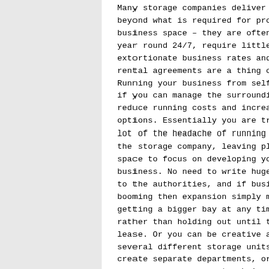Many storage companies deliver well and beyond what is required for providing business space – they are often open all year round 24/7, require little upkeep, and extortionate business rates and drawn out rental agreements are a thing of the past. Running your business from self-storage, if you can manage the surroundings, can reduce running costs and increase your options. Essentially you are transferring a lot of the headache of running facilities to the storage company, leaving plenty of space to focus on developing your business. No need to write huge cheques to the authorities, and if business is booming then expansion simply means getting a bigger bay at any time you want, rather than holding out until the end of a lease. Or you can be creative and hire several different storage units in order to create separate departments, or stock areas, or even separate chains of a